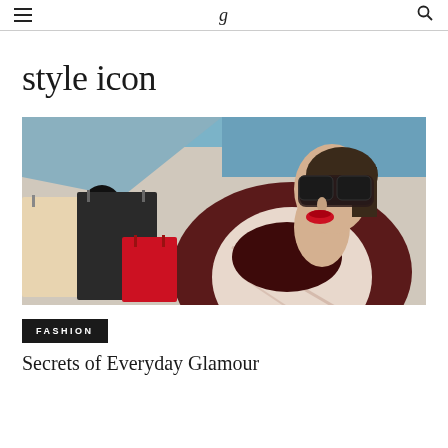style icon
style icon
[Figure (photo): A fashionable woman wearing dark sunglasses and red lipstick, dressed in a dark burgundy coat and patterned scarf/cape, holding shopping bags with leather gloves. Shot from below against a blue sky and light background.]
FASHION
Secrets of Everyday Glamour